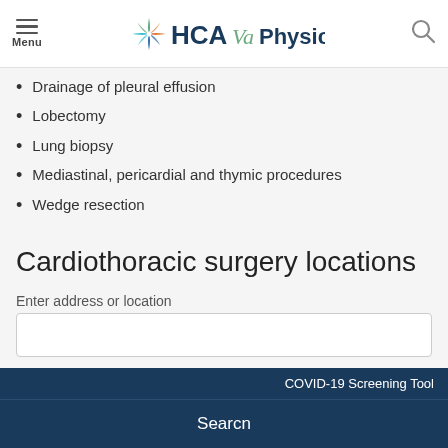Menu | HCAVa Physicians
Drainage of pleural effusion
Lobectomy
Lung biopsy
Mediastinal, pericardial and thymic procedures
Wedge resection
Cardiothoracic surgery locations
Enter address or location
COVID-19 Screening Tool
Searcn